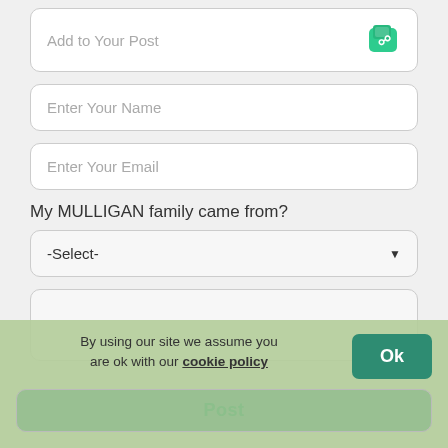[Figure (screenshot): Form field box with 'Add to Your Post' label and a green photo/media icon on the right]
[Figure (screenshot): Text input field with placeholder 'Enter Your Name']
[Figure (screenshot): Text input field with placeholder 'Enter Your Email']
My MULLIGAN family came from?
[Figure (screenshot): Dropdown select field with placeholder '-Select-' and a dropdown arrow]
[Figure (screenshot): Empty textarea input box]
By using our site we assume you are ok with our cookie policy
[Figure (screenshot): Ok button (green, rounded) and Post button (muted green, rounded) in cookie consent banner]